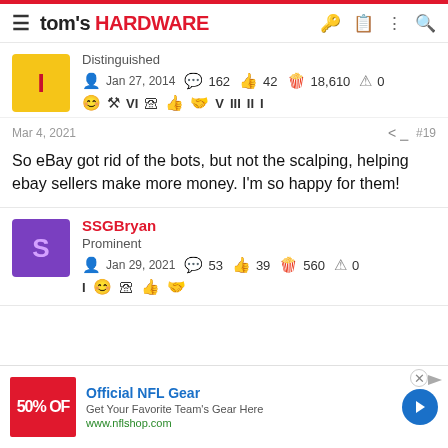tom's HARDWARE
Distinguished
Jan 27, 2014  162  42  18,610  0
Mar 4, 2021  #19
So eBay got rid of the bots, but not the scalping, helping ebay sellers make more money. I'm so happy for them!
SSGBryan
Prominent
Jan 29, 2021  53  39  560  0
[Figure (other): Advertisement banner: Official NFL Gear - Get Your Favorite Team's Gear Here, www.nflshop.com, with 50% OFF text on red background]